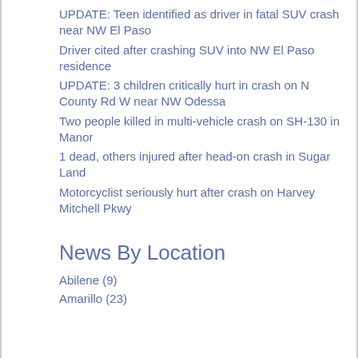UPDATE: Teen identified as driver in fatal SUV crash near NW El Paso
Driver cited after crashing SUV into NW El Paso residence
UPDATE: 3 children critically hurt in crash on N County Rd W near NW Odessa
Two people killed in multi-vehicle crash on SH-130 in Manor
1 dead, others injured after head-on crash in Sugar Land
Motorcyclist seriously hurt after crash on Harvey Mitchell Pkwy
News By Location
Abilene (9)
Amarillo (23)